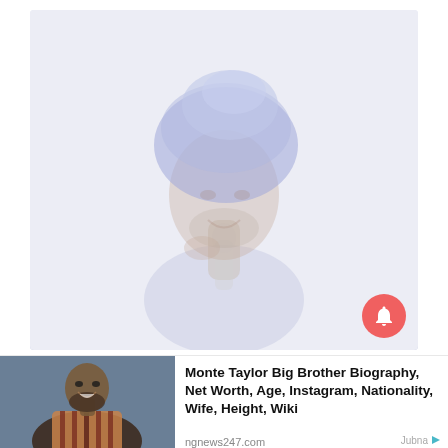[Figure (photo): Faded/washed-out photo of a person wearing a blue turban, with hand near chin, in front of microphone. Image appears heavily faded/overexposed with bluish-white tones.]
[Figure (photo): Thumbnail photo of Monte Taylor, a smiling man wearing a striped shirt, against a blue-grey background.]
Monte Taylor Big Brother Biography, Net Worth, Age, Instagram, Nationality, Wife, Height, Wiki
ngnews247.com